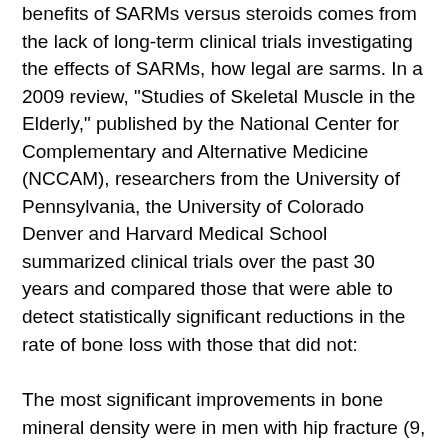benefits of SARMs versus steroids comes from the lack of long-term clinical trials investigating the effects of SARMs, how legal are sarms. In a 2009 review, "Studies of Skeletal Muscle in the Elderly," published by the National Center for Complementary and Alternative Medicine (NCCAM), researchers from the University of Pennsylvania, the University of Colorado Denver and Harvard Medical School summarized clinical trials over the past 30 years and compared those that were able to detect statistically significant reductions in the rate of bone loss with those that did not:
The most significant improvements in bone mineral density were in men with hip fracture (9, sarms crossfit cycle.6 percent), and in women with hip fracture (7, sarms crossfit cycle.4 percent), sarms crossfit cycle. Improvements were noted in both groups of women even though the overall effect size in